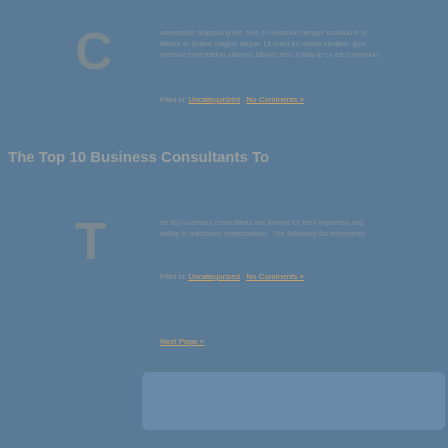C [drop cap] article text lines (faded)
Filed in: Uncategorized   No Comments »
The Top 10 Business Consultants To
T [drop cap] article text lines (faded)
Filed in: Uncategorized   No Comments »
Next Page »
[Figure (other): Light blue rounded rectangle bar at bottom of page, resembling a sidebar or search widget]